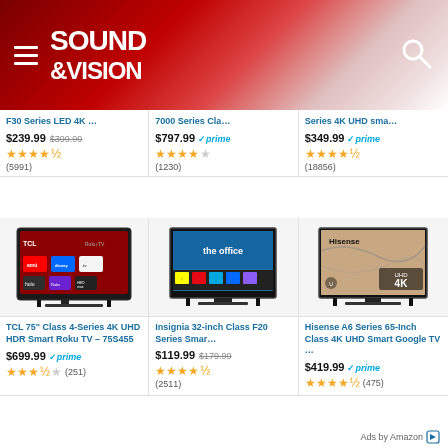Sound & Vision
F30 Series LED 4K ...
$239.99  $399.99   ★★★★½ (5991)
7000 Series Cla...
$797.99  ✓prime  ★★★★½ (1230)
Series 4K UHD sma...
$349.99  ✓prime  ★★★★½ (18856)
[Figure (photo): TCL Roku TV with streaming apps on screen]
[Figure (photo): Insignia Fire TV showing The Office]
[Figure (photo): Hisense UHD 4K TV]
TCL 75" Class 4-Series 4K UHD HDR Smart Roku TV – 75S455
$699.99 ✓prime ★★★½ (251)
Insignia 32-inch Class F20 Series Smar...
$119.99  $179.99
★★★★½ (2511)
Hisense A6 Series 65-Inch Class 4K UHD Smart Google TV ...
$419.99 ✓prime ★★★★½ (475)
Ads by Amazon